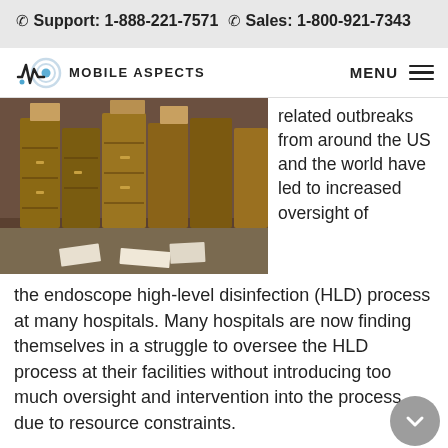Support: 1-888-221-7571   Sales: 1-800-921-7343
[Figure (logo): Mobile Aspects logo with waveform graphic and circular signal icon, text reading MOBILE ASPECTS]
[Figure (photo): A cluttered storage room filled with stacked brown cardboard boxes and old metal filing cabinet drawers, papers scattered on the floor]
related outbreaks from around the US and the world have led to increased oversight of the endoscope high-level disinfection (HLD) process at many hospitals. Many hospitals are now finding themselves in a struggle to oversee the HLD process at their facilities without introducing too much oversight and intervention into the process due to resource constraints.